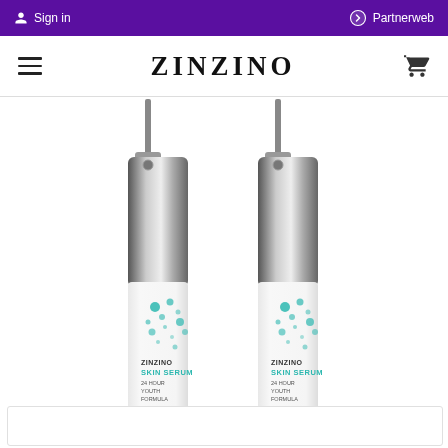Sign in   Partnerweb
ZINZINO
[Figure (photo): Two Zinzino Skin Serum 24 Hour Youth Formula bottles with silver pump tops and white bodies with teal dot branding pattern, shown side by side, partially cropped at bottom]